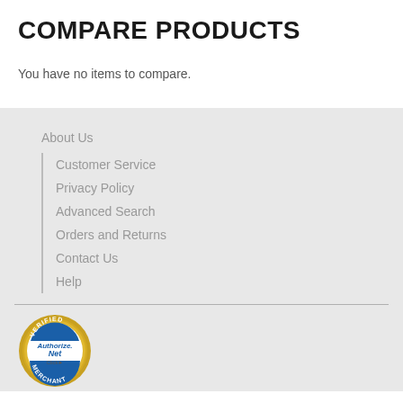COMPARE PRODUCTS
You have no items to compare.
About Us
Customer Service
Privacy Policy
Advanced Search
Orders and Returns
Contact Us
Help
[Figure (logo): Authorize.Net Verified Merchant seal/badge with gold and blue circular design]